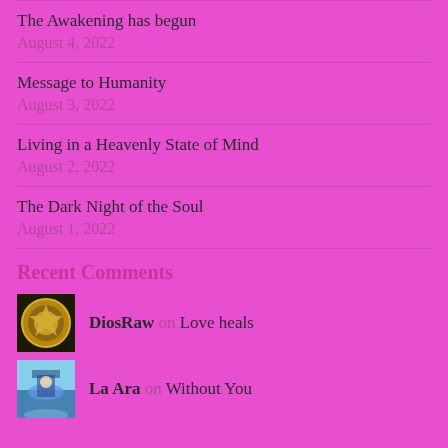The Awakening has begun
August 4, 2022
Message to Humanity
August 3, 2022
Living in a Heavenly State of Mind
August 2, 2022
The Dark Night of the Soul
August 1, 2022
Recent Comments
DiosRaw on Love heals
La Ara on Without You